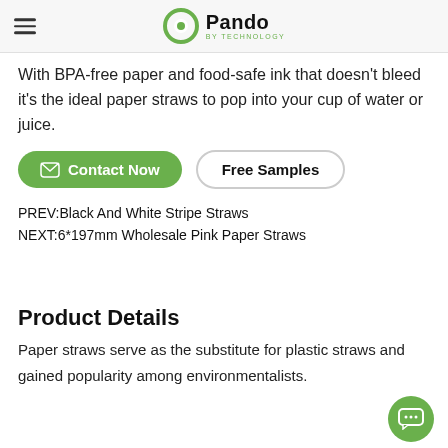Pando BY TECHNOLOGY
With BPA-free paper and food-safe ink that doesn't bleed it's the ideal paper straws to pop into your cup of water or juice.
Contact Now   Free Samples
PREV:Black And White Stripe Straws
NEXT:6*197mm Wholesale Pink Paper Straws
Product Details
Paper straws serve as the substitute for plastic straws and gained popularity among environmentalists.